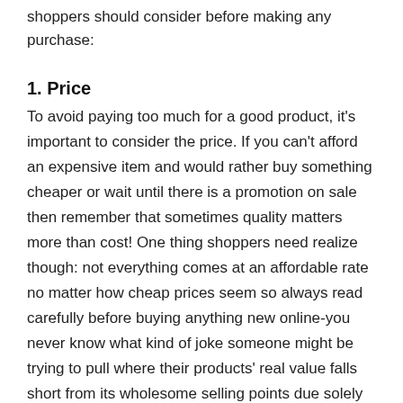shoppers should consider before making any purchase:
1. Price
To avoid paying too much for a good product, it's important to consider the price. If you can't afford an expensive item and would rather buy something cheaper or wait until there is a promotion on sale then remember that sometimes quality matters more than cost! One thing shoppers need realize though: not everything comes at an affordable rate no matter how cheap prices seem so always read carefully before buying anything new online-you never know what kind of joke someone might be trying to pull where their products' real value falls short from its wholesome selling points due solely because some unscrupulous company makes use